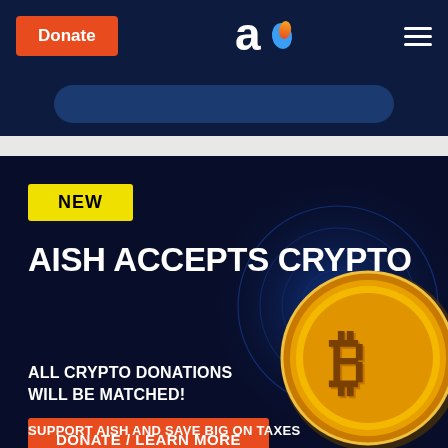[Figure (screenshot): Website header with orange Donate button, 'ao' logo (white 'a' with orange/blue flame drop), and hamburger menu on dark navy background]
[Figure (screenshot): Dark navy promotional banner strip below header]
[Figure (infographic): Promotional section with dark navy background, radial blue glow, yellow NEW badge, main headline 'AISH ACCEPTS CRYPTO', subheadline 'ALL CRYPTO DONATIONS WILL BE MATCHED!', orange DONATE/LEARN MORE button, Bitcoin gold coin graphic on right, and footer text 'SUPPORT AISH AND SAVE BIG ON TAXES']